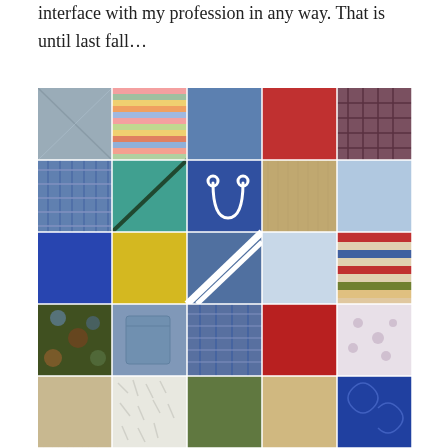interface with my profession in any way. That is until last fall…
[Figure (photo): A colorful patchwork quilt made from many different fabric squares including plaid, solid colors, striped, and patterned fabrics in blue, red, yellow, green, teal, brown, and floral prints.]